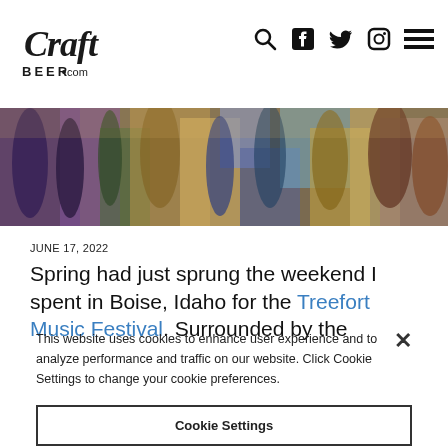CraftBeer.com — navigation header with logo, search, social icons, and menu
[Figure (photo): Crowd of people at an outdoor music festival, warm tones]
JUNE 17, 2022
Spring had just sprung the weekend I spent in Boise, Idaho for the Treefort Music Festival. Surrounded by the
This website uses cookies to enhance user experience and to analyze performance and traffic on our website. Click Cookie Settings to change your cookie preferences.
Cookie Settings
Reject All
Accept All Cookies